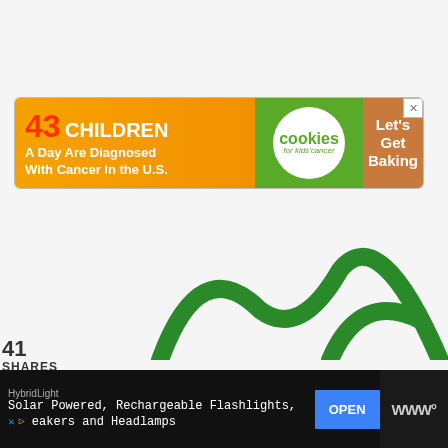[Figure (screenshot): Web page screenshot showing social sharing sidebar with 41 shares (Facebook 41, Pinterest, Twitter), an advertisement banner for cookies for kids cancer showing '43 Children A Day Are Diagnosed With Cancer In The U.S.' with cookies logo and 'Let's Get Baking' button, right side widgets with heart button (42 likes) and share button, a 'What's Next' panel showing 'How To Live Off The Grid...' article, a partial green graphic at bottom, and a bottom advertisement bar for HybridLight Solar Powered Rechargeable Flashlights, Speakers and Headlamps with an OPEN button.]